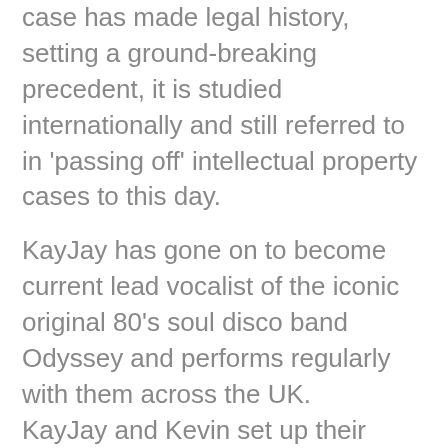case has made legal history, setting a ground-breaking precedent, it is studied internationally and still referred to in 'passing off' intellectual property cases to this day.
KayJay has gone on to become current lead vocalist of the iconic original 80's soul disco band Odyssey and performs regularly with them across the UK.
KayJay and Kevin set up their company Divinyl Music Ltd in 2010 as they both became busy providing vocals and keyboards for projects, and organising session musicians for various live events. KayJay set up In